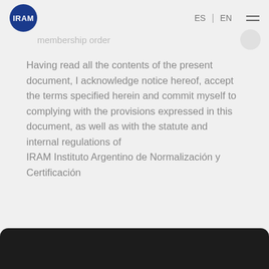IRAM  ES | EN
membership order
Having read all the contents of the present document, I acknowledge notice hereof, accept the terms specified herein and commit myself to complying with the provisions expressed in this document, as well as with the statute and internal regulations of
IRAM Instituto Argentino de Normalización y Certificación